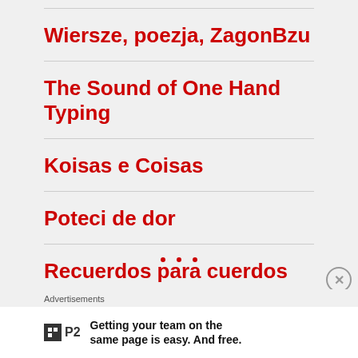Wiersze, poezja, ZagonBzu
The Sound of One Hand Typing
Koisas e Coisas
Poteci de dor
Recuerdos para cuerdos
Advertisements
Getting your team on the same page is easy. And free.